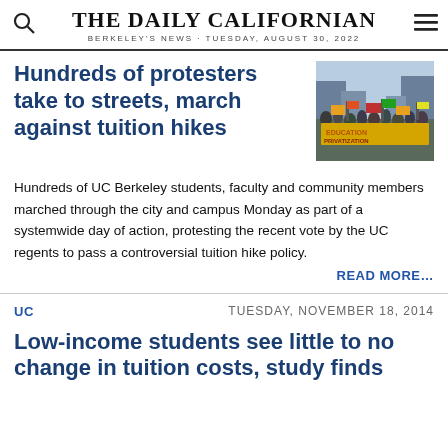THE DAILY CALIFORNIAN
BERKELEY'S NEWS · TUESDAY, AUGUST 30, 2022
Hundreds of protesters take to streets, march against tuition hikes
[Figure (photo): Crowd of protesters marching with large yellow banner reading 'Education' and 'Privatization']
Hundreds of UC Berkeley students, faculty and community members marched through the city and campus Monday as part of a systemwide day of action, protesting the recent vote by the UC regents to pass a controversial tuition hike policy.
READ MORE…
UC
TUESDAY, NOVEMBER 18, 2014
Low-income students see little to no change in tuition costs, study finds